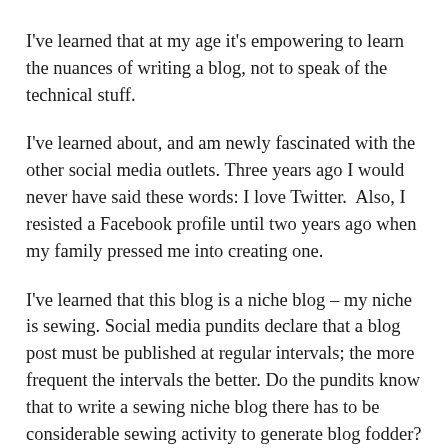I've learned that at my age it's empowering to learn the nuances of writing a blog, not to speak of the technical stuff.
I've learned about, and am newly fascinated with the other social media outlets. Three years ago I would never have said these words: I love Twitter.  Also, I resisted a Facebook profile until two years ago when my family pressed me into creating one.
I've learned that this blog is a niche blog – my niche is sewing. Social media pundits declare that a blog post must be published at regular intervals; the more frequent the intervals the better. Do the pundits know that to write a sewing niche blog there has to be considerable sewing activity to generate blog fodder? That's OK by me since I love to sew – all the time. I still do not generate enough material for a weekly blog like